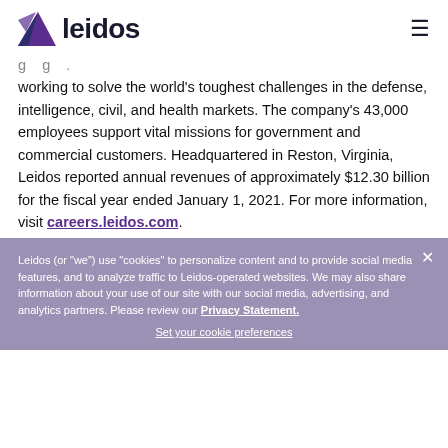leidos
working to solve the world's toughest challenges in the defense, intelligence, civil, and health markets. The company's 43,000 employees support vital missions for government and commercial customers. Headquartered in Reston, Virginia, Leidos reported annual revenues of approximately $12.30 billion for the fiscal year ended January 1, 2021. For more information, visit careers.leidos.com.
Pay and Benefits
Pay and benefits are fundamental to any career decision. That's why we craft compensation packages that reflect the importance of the work we do for our customers.